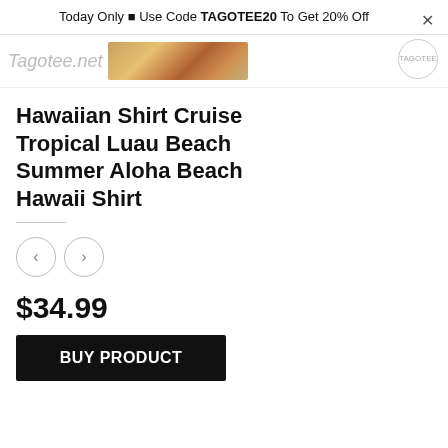Today Only ▪ Use Code TAGOTEE20 To Get 20% Off
[Figure (screenshot): Header strip with Tagotee.net logo, product thumbnail image strip of colorful tropical items, and cart circle icon]
Hawaiian Shirt Cruise Tropical Luau Beach Summer Aloha Beach Hawaii Shirt
[Figure (other): Navigation left/right arrow buttons]
$34.99
BUY PRODUCT
SKU: 410336
Category: 3D Shirt